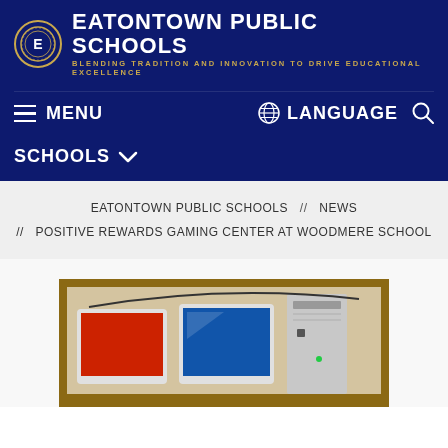EATONTOWN PUBLIC SCHOOLS — BLENDING TRADITION AND INNOVATION TO DRIVE EDUCATIONAL EXCELLENCE
MENU
LANGUAGE
SCHOOLS
EATONTOWN PUBLIC SCHOOLS // NEWS // POSITIVE REWARDS GAMING CENTER AT WOODMERE SCHOOL
[Figure (photo): Photo of a gaming center setup at Woodmere School, showing computer monitors and equipment on shelves]